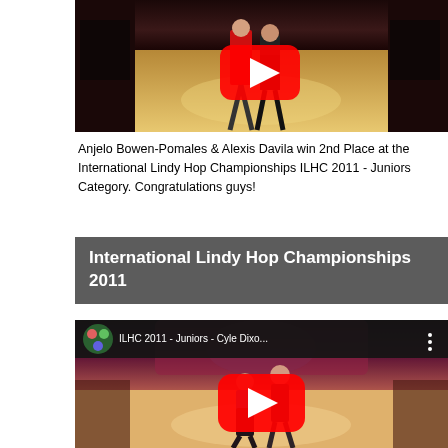[Figure (screenshot): YouTube video thumbnail showing two dancers (woman in red dress, man in black) performing at what appears to be a dance competition on a shiny ballroom floor with audience in the background. A red YouTube play button is visible.]
Anjelo Bowen-Pomales & Alexis Davila win 2nd Place at the International Lindy Hop Championships ILHC 2011 - Juniors Category. Congratulations guys!
International Lindy Hop Championships 2011
[Figure (screenshot): YouTube video thumbnail for 'ILHC 2011 - Juniors - Cyle Dixo...' showing two dancers performing swing/lindy hop on a dance floor with audience seated around the edges. Stage has pink/purple lighting. Large red YouTube play button overlay.]